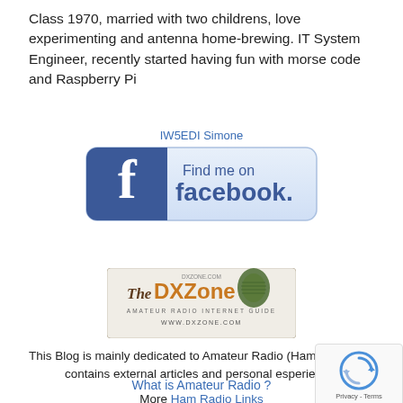Class 1970, married with two childrens, love experimenting and antenna home-brewing. IT System Engineer, recently started having fun with morse code and Raspberry Pi
IW5EDI Simone
[Figure (logo): Facebook 'Find me on facebook' button with blue rounded rectangle design]
[Figure (logo): The DXZone Amateur Radio Internet Guide banner with radio microphone image and www.dxzone.com URL]
This Blog is mainly dedicated to Amateur Radio (Ham radio) and contains external articles and personal esperienc...
What is Amateur Radio ?
More Ham Radio Links